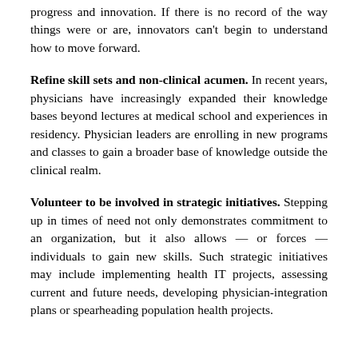progress and innovation. If there is no record of the way things were or are, innovators can't begin to understand how to move forward.
Refine skill sets and non-clinical acumen. In recent years, physicians have increasingly expanded their knowledge bases beyond lectures at medical school and experiences in residency. Physician leaders are enrolling in new programs and classes to gain a broader base of knowledge outside the clinical realm.
Volunteer to be involved in strategic initiatives. Stepping up in times of need not only demonstrates commitment to an organization, but it also allows — or forces — individuals to gain new skills. Such strategic initiatives may include implementing health IT projects, assessing current and future needs, developing physician-integration plans or spearheading population health projects.